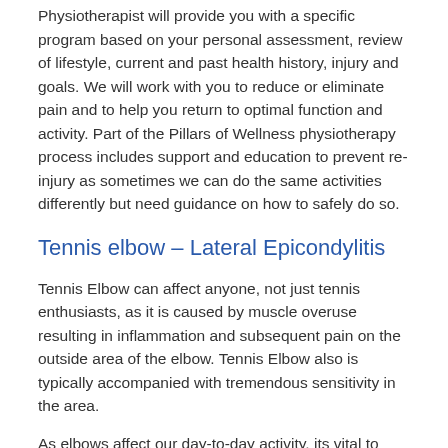Physiotherapist will provide you with a specific program based on your personal assessment, review of lifestyle, current and past health history, injury and goals. We will work with you to reduce or eliminate pain and to help you return to optimal function and activity. Part of the Pillars of Wellness physiotherapy process includes support and education to prevent re-injury as sometimes we can do the same activities differently but need guidance on how to safely do so.
Tennis elbow – Lateral Epicondylitis
Tennis Elbow can affect anyone, not just tennis enthusiasts, as it is caused by muscle overuse resulting in inflammation and subsequent pain on the outside area of the elbow. Tennis Elbow also is typically accompanied with tremendous sensitivity in the area.
As elbows affect our day-to-day activity, its vital to